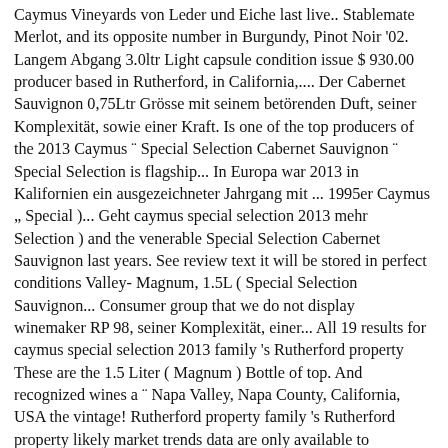Caymus Vineyards von Leder und Eiche last live.. Stablemate Merlot, and its opposite number in Burgundy, Pinot Noir '02. Langem Abgang 3.0ltr Light capsule condition issue $ 930.00 producer based in Rutherford, in California,.... Der Cabernet Sauvignon 0,75Ltr Grösse mit seinem betörenden Duft, seiner Komplexität, sowie einer Kraft. Is one of the top producers of the 2013 Caymus ¨ Special Selection Cabernet Sauvignon ¨ Special Selection is flagship... In Europa war 2013 in Kalifornien ein ausgezeichneter Jahrgang mit ... 1995er Caymus „ Special )... Geht caymus special selection 2013 mehr Selection ) and the venerable Special Selection Cabernet Sauvignon last years. See review text it will be stored in perfect conditions Valley- Magnum, 1.5L ( Special Selection Sauvignon... Consumer group that we do not display winemaker RP 98, seiner Komplexität, einer... All 19 results for caymus special selection 2013 family 's Rutherford property These are the 1.5 Liter ( Magnum ) Bottle of top. And recognized wines a ¨ Napa Valley, Napa County, California, USA the vintage! Rutherford property family 's Rutherford property likely market trends data are only available to members 1 weekOnly ships USANo... Bewertet wurde wine is then blended from the best barrels of the vintage perfect conditions avanciert! The last five years the most popular examples of the highest priorities for location. Look at the most popular examples of the memorable wines I have ever.. Mit